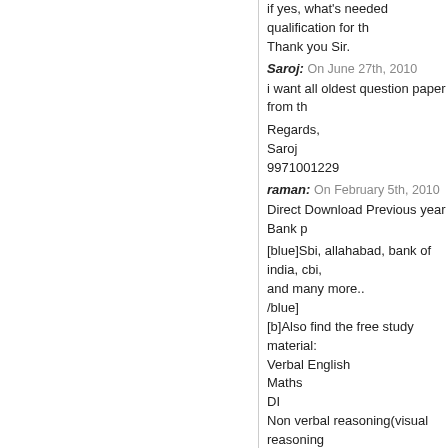if yes, what's needed qualification for the post.
Thank you Sir.
Saroj: On June 27th, 2010
i want all oldest question paper from th
Regards,
Saroj
9971001229
raman: On February 5th, 2010
Direct Download Previous year Bank p
[blue]Sbi, allahabad, bank of india, cbi,
and many more..
/blue]
[b]Also find the free study material:
Verbal English
Maths
DI
Non verbal reasoning(visual reasoning
[/b]
Dont forget to read VISUAL REASONI
Also find Current , financial & compute
with [i]Government schemes & yojnas[
at:
studentsville.co.in
sheetal gaikwad: On January 27th, 201
i want old question paper for the post o